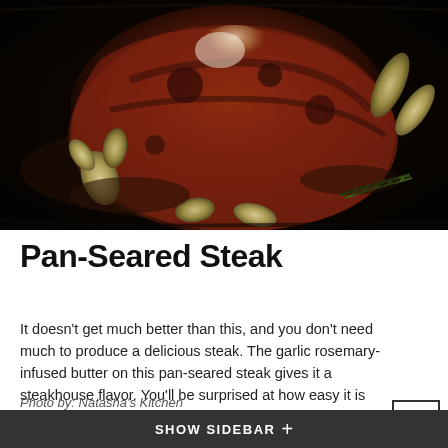[Figure (photo): Close-up photo of a pan-seared steak cooking in a dark skillet with garlic cloves and rosemary herbs, with butter basting the meat]
Pan-Seared Steak
It doesn't get much better than this, and you don't need much to produce a delicious steak. The garlic rosemary-infused butter on this pan-seared steak gives it a steakhouse flavor. You'll be surprised at how easy it is to cook the perfect steak, which is seared and caramelized on the exterior and juicy on the inside. This steak recipe is amazing and will surely impress Dad.
Photo by: Natasha's Kitchen
SHOW SIDEBAR +